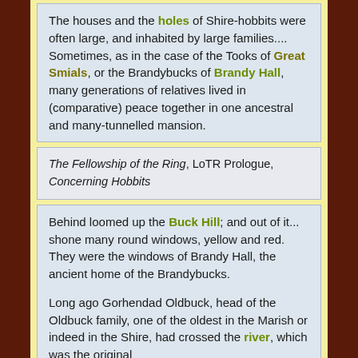The houses and the holes of Shire-hobbits were often large, and inhabited by large families.... Sometimes, as in the case of the Tooks of Great Smials, or the Brandybucks of Brandy Hall, many generations of relatives lived in (comparative) peace together in one ancestral and many-tunnelled mansion.
The Fellowship of the Ring, LoTR Prologue, Concerning Hobbits
Behind loomed up the Buck Hill; and out of it... shone many round windows, yellow and red. They were the windows of Brandy Hall, the ancient home of the Brandybucks.

Long ago Gorhendad Oldbuck, head of the Oldbuck family, one of the oldest in the Marish or indeed in the Shire, had crossed the river, which was the original